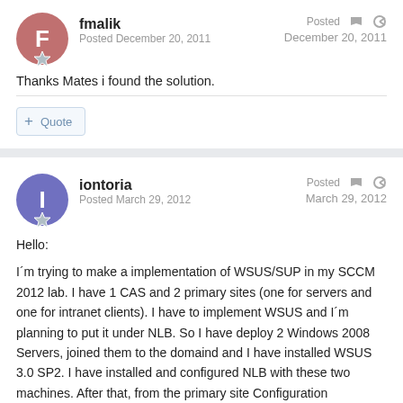fmalik
Posted December 20, 2011
Posted December 20, 2011
Thanks Mates i found the solution.
+ Quote
iontoria
Posted March 29, 2012
Posted March 29, 2012
Hello:
I´m trying to make a implementation of WSUS/SUP in my SCCM 2012 lab. I have 1 CAS and 2 primary sites (one for servers and one for intranet clients). I have to implement WSUS and I´m planning to put it under NLB. So I have deploy 2 Windows 2008 Servers, joined them to the domaind and I have installed WSUS 3.0 SP2. I have installed and configured NLB with these two machines. After that, from the primary site Configuration